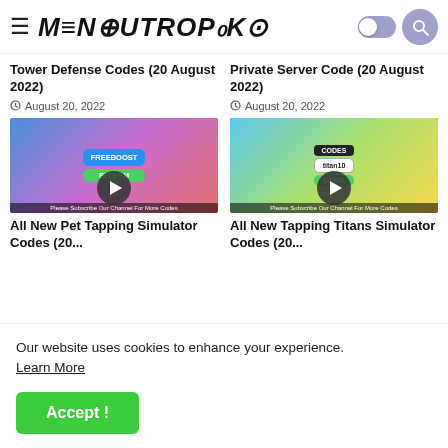≡ MENSUTROPRO
Tower Defense Codes (20 August 2022)
Private Server Code (20 August 2022)
August 20, 2022
August 20, 2022
[Figure (screenshot): Roblox Tower Defense game screenshot with FREEBOOST code input box and REDEEM button, subscribe banner at bottom]
[Figure (screenshot): Roblox game screenshot with CODES dialog showing titan10 code and DONE button, subscribe banner at bottom]
All New Pet Tapping Simulator Codes (20...
All New Tapping Titans Simulator Codes (20...
Our website uses cookies to enhance your experience. Learn More
Accept !